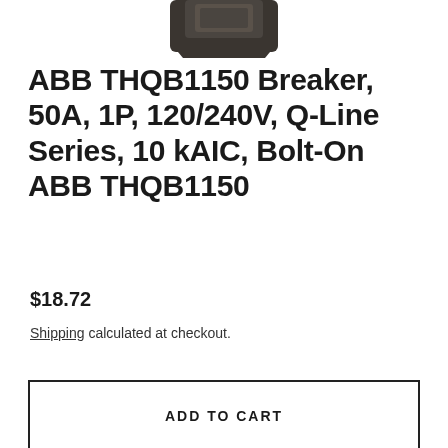[Figure (photo): Partial view of a dark-colored ABB THQB1150 circuit breaker product photo, cropped at the top of the page]
ABB THQB1150 Breaker, 50A, 1P, 120/240V, Q-Line Series, 10 kAIC, Bolt-On ABB THQB1150
$18.72
Shipping calculated at checkout.
ADD TO CART